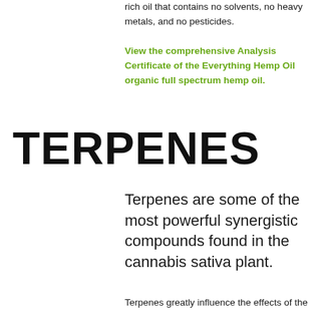rich oil that contains no solvents, no heavy metals, and no pesticides.
View the comprehensive Analysis Certificate of the Everything Hemp Oil organic full spectrum hemp oil.
TERPENES
Terpenes are some of the most powerful synergistic compounds found in the cannabis sativa plant.
Terpenes greatly influence the effects of the